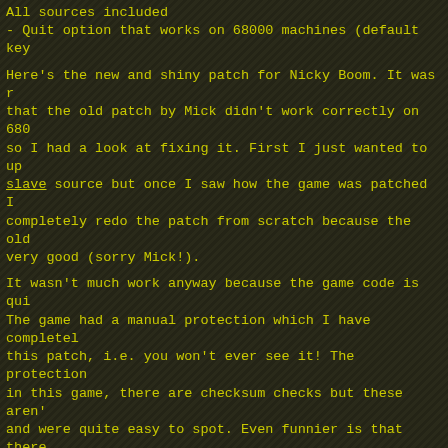All sources included
- Quit option that works on 68000 machines (default key
Here's the new and shiny patch for Nicky Boom. It was r that the old patch by Mick didn't work correctly on 680 so I had a look at fixing it. First I just wanted to up slave source but once I saw how the game was patched I completely redo the patch from scratch because the old very good (sorry Mick!).
It wasn't much work anyway because the game code is qui The game had a manual protection which I have completel this patch, i.e. you won't ever see it! The protection in this game, there are checksum checks but these aren' and were quite easy to spot. Even funnier is that there the game to save all checksums to disk, obviously built and then forgotten to remove. Why even have checksum ch it reminds me of the classic example of protecting a ca with an expensive car alarm but forgetting to lock the There also was a check for the correct bootblock checks funny too because it was so obvious that it could've be left out.
You can enable the built-in trainer plus some additiona the CUSTOM1=1 toolttype. You will then have:
- unlimited lives
- in-game keys, these are:
F1: get shield
F2: get 10 bombs